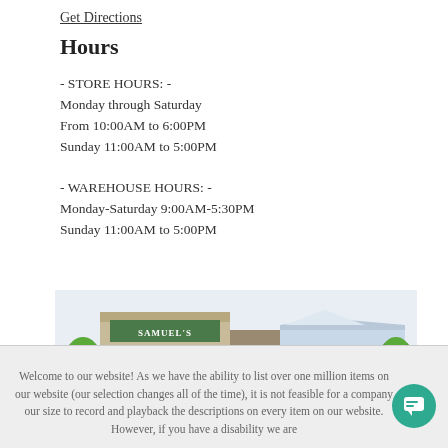Get Directions
Hours
- STORE HOURS: -
Monday through Saturday
From 10:00AM to 6:00PM
Sunday 11:00AM to 5:00PM
- WAREHOUSE HOURS: -
Monday-Saturday 9:00AM-5:30PM
Sunday 11:00AM to 5:00PM
[Figure (illustration): Exterior illustration of Samuel's furniture store building, showing a large retail strip with trees and parking lot in front.]
Welcome to our website! As we have the ability to list over one million items on our website (our selection changes all of the time), it is not feasible for a company our size to record and playback the descriptions on every item on our website. However, if you have a disability we are